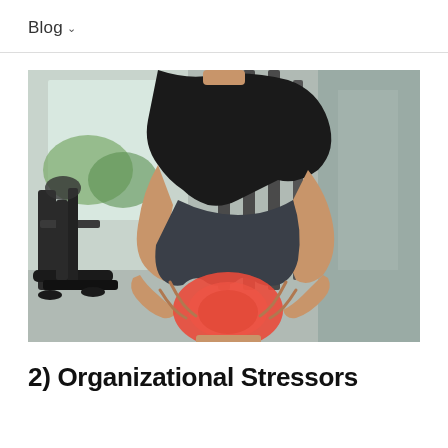Blog
[Figure (photo): A man in a gym wearing dark athletic clothing bending over and holding his knee with both hands. The knee area is highlighted in red, indicating pain or injury. In the background, gym equipment including an elliptical machine is visible.]
2) Organizational Stressors